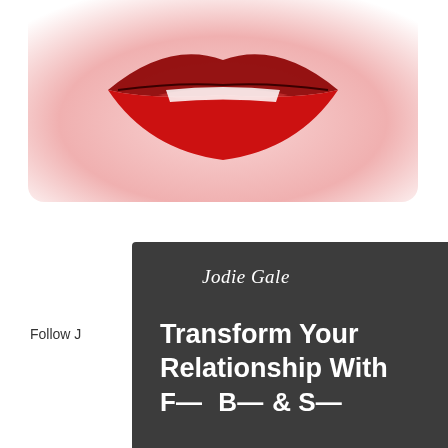[Figure (photo): Close-up photo of red lips with white teeth, pink/white background, rounded bottom crop]
Follow J
[Figure (screenshot): Dark modal overlay on webpage showing Jodie Gale branding with text 'Transform Your Relationship With Food Body & Soul', download offer '4 Ways... Body', red DOWNLOAD button, and X close button]
Categor
> 1st col
> Addict